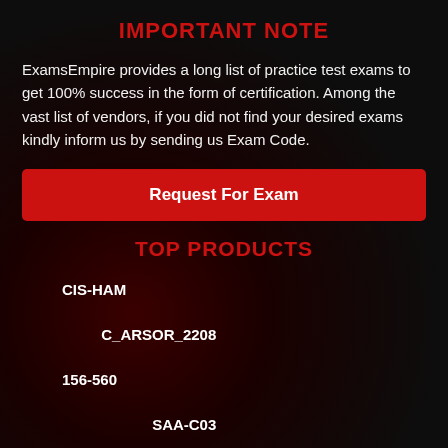IMPORTANT NOTE
ExamsEmpire provides a long list of practice test exams to get 100% success in the form of certification. Among the vast list of vendors, if you did not find your desired exams kindly inform us by sending us Exam Code.
Request For Exam
TOP PRODUCTS
CIS-HAM
C_ARSOR_2208
156-560
SAA-C03
Certified-Business-Analyst